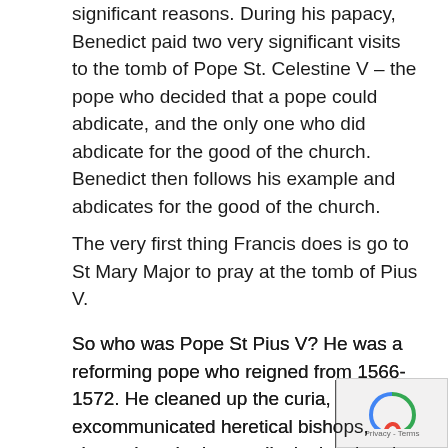significant reasons. During his papacy, Benedict paid two very significant visits to the tomb of Pope St. Celestine V – the pope who decided that a pope could abdicate, and the only one who did abdicate for the good of the church. Benedict then follows his example and abdicates for the good of the church.
The very first thing Francis does is go to St Mary Major to pray at the tomb of Pius V.
So who was Pope St Pius V? He was a reforming pope who reigned from 1566- 1572. He cleaned up the curia, excommunicated heretical bishops, cleaned up the immorality in the church and swept the church clean – paving the way for the great surge in the church we call the Counter Reformation. He also excommunicated tyrant Elizabeth I of England and formed the Holy